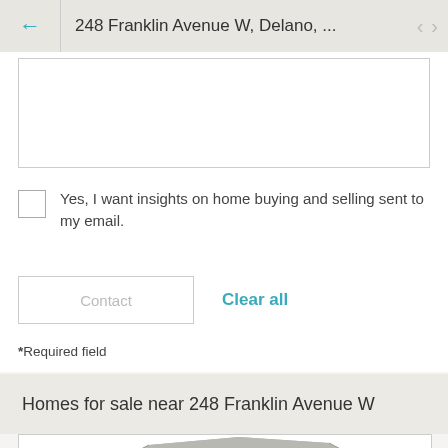248 Franklin Avenue W, Delano, ...
[Figure (screenshot): Empty white textarea input box for message entry]
Yes, I want insights on home buying and selling sent to my email.
Contact    Clear all
*Required field
Homes for sale near 248 Franklin Avenue W
[Figure (photo): Partial view of a house roof, gray shingles, cropped at bottom of page]